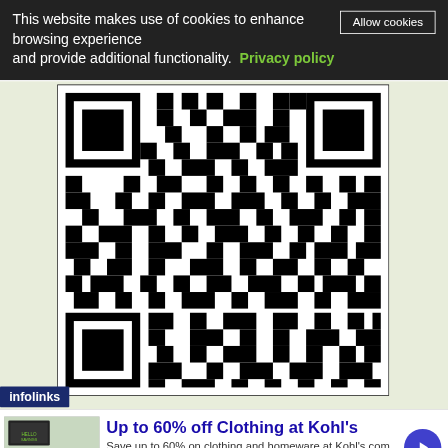This website makes use of cookies to enhance browsing experience and provide additional functionality. Privacy policy
Allow cookies
[Figure (other): QR code — large black-and-white matrix barcode displayed on a light yellow-green background]
infolinks
Up to 60% off Clothing at Kohl's
Save up to 60% on clothing and homeware at Kohl's.com
kohls.com